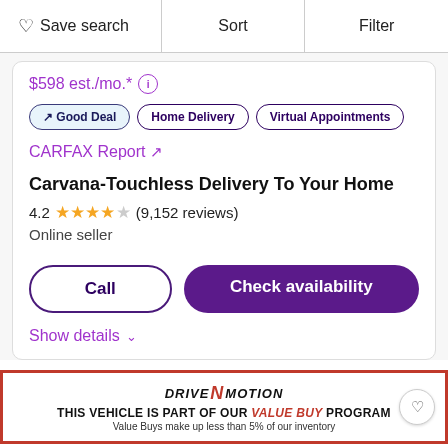Save search  Sort  Filter
$598 est./mo.*
Good Deal  Home Delivery  Virtual Appointments
CARFAX Report ↗
Carvana-Touchless Delivery To Your Home
4.2 ★★★★☆ (9,152 reviews)
Online seller
Call  Check availability
Show details ∨
[Figure (other): Drive N Motion advertisement banner: THIS VEHICLE IS PART OF OUR VALUE BUY PROGRAM - Value Buys make up less than 5% of our inventory]